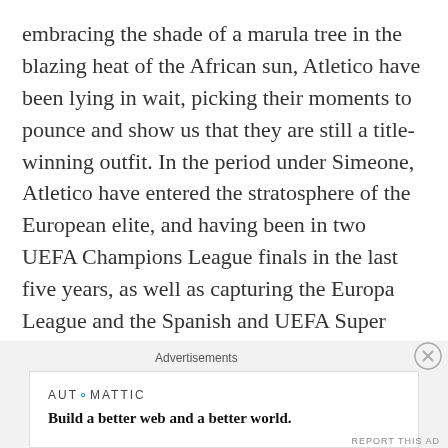embracing the shade of a marula tree in the blazing heat of the African sun, Atletico have been lying in wait, picking their moments to pounce and show us that they are still a title-winning outfit. In the period under Simeone, Atletico have entered the stratosphere of the European elite, and having been in two UEFA Champions League finals in the last five years, as well as capturing the Europa League and the Spanish and UEFA Super Cups, the La Liga crown could be a realistic prospect once again.
Advertisements
[Figure (other): Automattic advertisement banner with logo and tagline: Build a better web and a better world.]